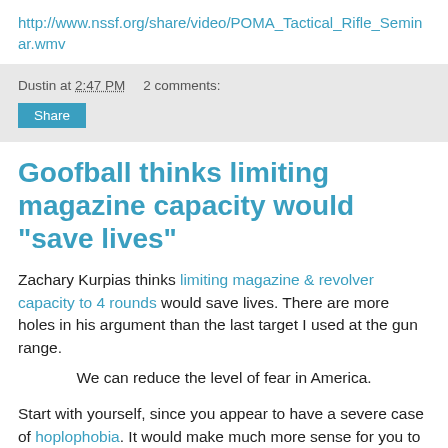http://www.nssf.org/share/video/POMA_Tactical_Rifle_Seminar.wmv
Dustin at 2:47 PM   2 comments:
Share
Goofball thinks limiting magazine capacity would "save lives"
Zachary Kurpias thinks limiting magazine & revolver capacity to 4 rounds would save lives. There are more holes in his argument than the last target I used at the gun range.
We can reduce the level of fear in America.
Start with yourself, since you appear to have a severe case of hoplophobia. It would make much more sense for you to fear the criminal rather than his gun. To reduce your fear of criminals, you should support legislation that cuts criminal...